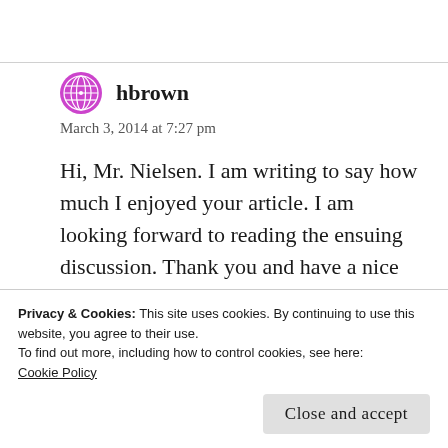hbrown
March 3, 2014 at 7:27 pm
Hi, Mr. Nielsen. I am writing to say how much I enjoyed your article. I am looking forward to reading the ensuing discussion. Thank you and have a nice day.
Privacy & Cookies: This site uses cookies. By continuing to use this website, you agree to their use.
To find out more, including how to control cookies, see here:
Cookie Policy
Close and accept